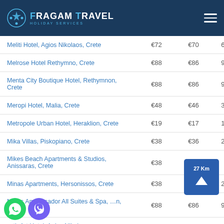Fragam Travel Holiday Services
| Hotel | Price 1 | Price 2 | Distance |
| --- | --- | --- | --- |
| Meliti Hotel, Agios Nikolaos, Crete | €72 | €70 | 65 Km |
| Melrose Hotel Rethymno, Crete | €88 | €86 | 90 Km |
| Menta City Boutique Hotel, Rethymnon, Crete | €88 | €86 | 90 Km |
| Meropi Hotel, Malia, Crete | €48 | €46 | 39 Km |
| Metropole Urban Hotel, Heraklion, Crete | €19 | €17 | 10 Km |
| Mika Villas, Piskopiano, Crete | €38 | €36 | 28 Km |
| Mikes Beach Apartments & Studios, Anissaras, Crete | €38 | €36 | 27 Km |
| Minas Apartments, Hersonissos, Crete | €38 | €36 | 27 Km |
| Minos Ambassador All Suites & Spa, Crete | €88 | €86 | 90 Km |
| ...th Art Hotel, Agios Nikolaos |  |  |  |